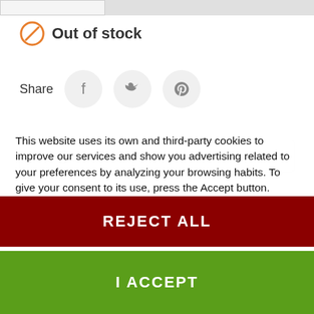Out of stock
Share
[Figure (other): Social share buttons: Facebook, Twitter, Pinterest]
your@email.com (placeholder)
This website uses its own and third-party cookies to improve our services and show you advertising related to your preferences by analyzing your browsing habits. To give your consent to its use, press the Accept button.
More information  Customize cookies
REJECT ALL
I ACCEPT